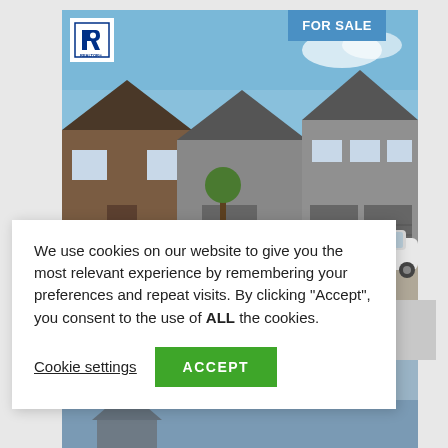[Figure (photo): Exterior photo of townhouse row with blue sky, brown/grey siding, garages, and white car in driveway. Realtor logo in top-left corner and FOR SALE badge in top-right corner.]
We use cookies on our website to give you the most relevant experience by remembering your preferences and repeat visits. By clicking “Accept”, you consent to the use of ALL the cookies.
Cookie settings
ACCEPT
[Figure (photo): Partial view of second listing card at bottom of page, showing a house photo and FOR SALE badge.]